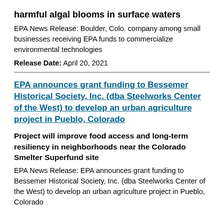harmful algal blooms in surface waters
EPA News Release: Boulder, Colo. company among small businesses receiving EPA funds to commercialize environmental technologies
Release Date: April 20, 2021
EPA announces grant funding to Bessemer Historical Society, Inc. (dba Steelworks Center of the West) to develop an urban agriculture project in Pueblo, Colorado
Project will improve food access and long-term resiliency in neighborhoods near the Colorado Smelter Superfund site
EPA News Release: EPA announces grant funding to Bessemer Historical Society, Inc. (dba Steelworks Center of the West) to develop an urban agriculture project in Pueblo, Colorado